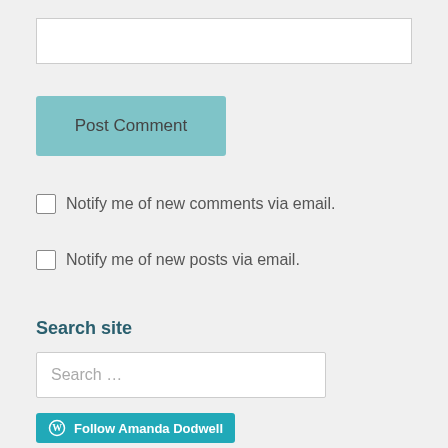[Figure (screenshot): Empty text input field with white background and light gray border]
Post Comment
Notify me of new comments via email.
Notify me of new posts via email.
Search site
Search …
Follow Amanda Dodwell